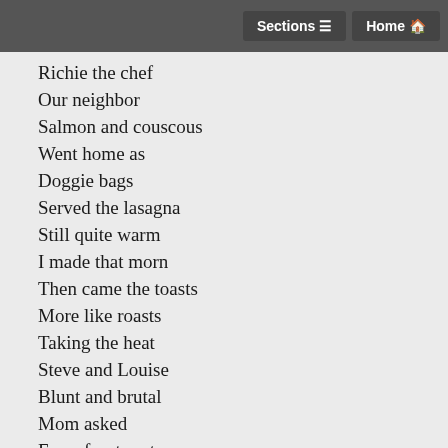Sections  Home
Richie the chef
Our neighbor
Salmon and couscous
Went home as
Doggie bags
Served the lasagna
Still quite warm
I made that morn
Then came the toasts
More like roasts
Taking the heat
Steve and Louise
Blunt and brutal
Mom asked
From front seat
Are they married yet
Utterly exhausted
End of that day